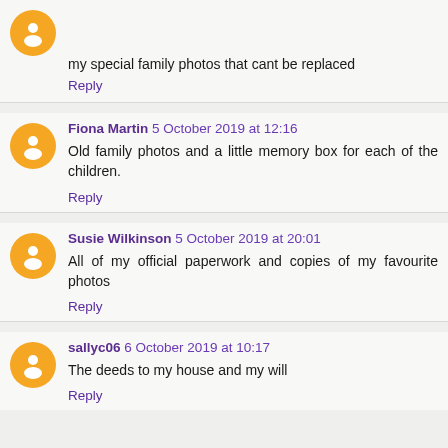my special family photos that cant be replaced
Reply
Fiona Martin 5 October 2019 at 12:16
Old family photos and a little memory box for each of the children.
Reply
Susie Wilkinson 5 October 2019 at 20:01
All of my official paperwork and copies of my favourite photos
Reply
sallyc06 6 October 2019 at 10:17
The deeds to my house and my will
Reply